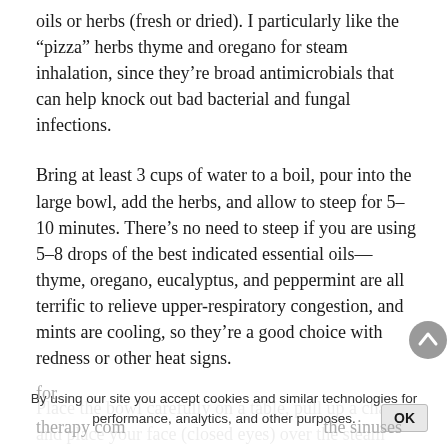oils or herbs (fresh or dried). I particularly like the “pizza” herbs thyme and oregano for steam inhalation, since they’re broad antimicrobials that can help knock out bad bacterial and fungal infections.
Bring at least 3 cups of water to a boil, pour into the large bowl, add the herbs, and allow to steep for 5–10 minutes. There’s no need to steep if you are using 5–8 drops of the best indicated essential oils—thyme, oregano, eucalyptus, and peppermint are all terrific to relieve upper-respiratory congestion, and mints are cooling, so they’re a good choice with redness or other heat signs.
Place the bowl carefully on a table, pull up a chair and place your face (closed eyes) over the steam with the big towel draped over your head and shoulders and the bowl, trapping the steam inside the tent you have created. Find a relaxed position leaning on your for
therapy com performance, analytics, and other purposes. the sinuses
By using our site you accept cookies and similar technologies for performance, analytics, and other purposes.